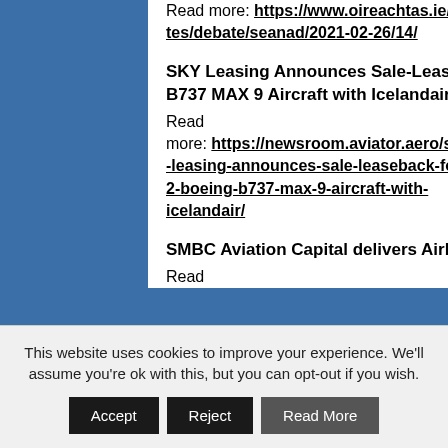Read more: https://www.oireachtas.ie/en/debates/debate/seanad/2021-02-26/14/
SKY Leasing Announces Sale-Leaseback for (2) Boeing B737 MAX 9 Aircraft with Icelandair
Read more: https://newsroom.aviator.aero/sky-leasing-announces-sale-leaseback-for-2-boeing-b737-max-9-aircraft-with-icelandair/
SMBC Aviation Capital delivers Airbus A321neo to IndiGo
Read
This website uses cookies to improve your experience. We'll assume you're ok with this, but you can opt-out if you wish.